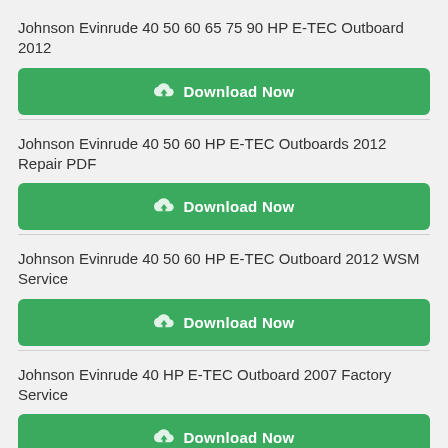Johnson Evinrude 40 50 60 65 75 90 HP E-TEC Outboard 2012
[Figure (other): Green Download Now button with cloud download icon]
Johnson Evinrude 40 50 60 HP E-TEC Outboards 2012 Repair PDF
[Figure (other): Green Download Now button with cloud download icon]
Johnson Evinrude 40 50 60 HP E-TEC Outboard 2012 WSM Service
[Figure (other): Green Download Now button with cloud download icon]
Johnson Evinrude 40 HP E-TEC Outboard 2007 Factory Service
[Figure (other): Green Download Now button with cloud download icon]